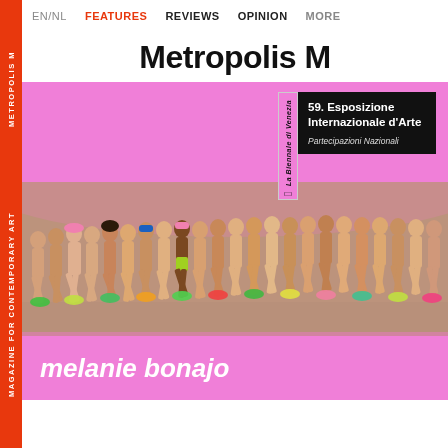EN/NL  FEATURES  REVIEWS  OPINION  MORE
Metropolis M
[Figure (photo): Book cover of Metropolis M magazine featuring a photo of many semi-nude people running in a line, set against a pink background. An overlaid badge shows the La Biennale di Venezia lion logo with text '59. Esposizione Internazionale d'Arte' and 'Partecipazioni Nazionali' on a black background.]
melanie bonajo
METROPOLIS M  MAGAZINE FOR CONTEMPORARY ART